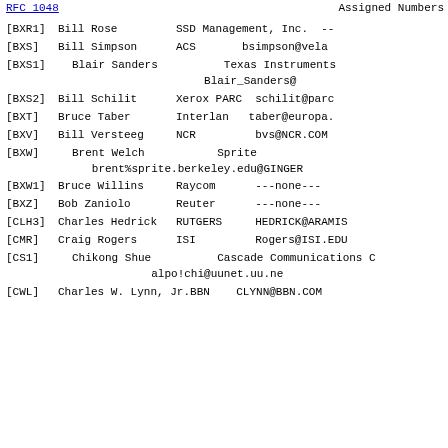RFC 1048    Assigned Numbers
[BXR1]   Bill Rose          SSD Management, Inc.  --
[BXS]    Bill Simpson       ACS        bsimpson@vela
[BXS1]   Blair Sanders      Texas Instruments
                           Blair_Sanders@
[BXS2]   Bill Schilit       Xerox PARC  schilit@parc
[BXT]    Bruce Taber        Interlan    taber@europa.
[BXV]    Bill Versteeg      NCR         bvs@NCR.COM
[BXW]    Brent Welch        Sprite
           brent%sprite.berkeley.edu@GINGER
[BXW1]   Bruce Willins      Raycom      ---none---
[BXZ]    Bob Zaniolo        Reuter      ---none---
[CLH3]   Charles Hedrick    RUTGERS     HEDRICK@ARAMIS
[CMR]    Craig Rogers       ISI         Rogers@ISI.EDU
[CS1]    Chikong Shue       Cascade Communications C
                       alpo!chi@uunet.uu.ne
[CWL]    Charles W. Lynn, Jr.  BBN       CLYNN@BBN.COM